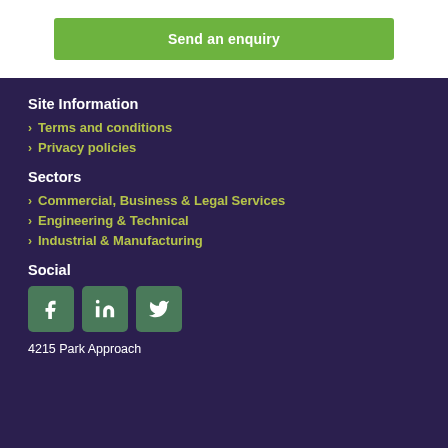Send an enquiry
Site Information
Terms and conditions
Privacy policies
Sectors
Commercial, Business & Legal Services
Engineering & Technical
Industrial & Manufacturing
Social
[Figure (other): Social media icons: Facebook, LinkedIn, Twitter]
4215 Park Approach